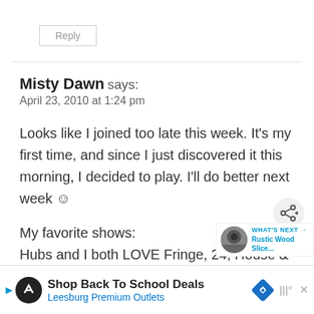Reply
Misty Dawn says:
April 23, 2010 at 1:24 pm
Looks like I joined too late this week. It's my first time, and since I just discovered it this morning, I decided to play. I'll do better next week ☺
My favorite shows:
Hubs and I both LOVE Fringe, 24, House &
[Figure (screenshot): Ad banner: Shop Back To School Deals - Leesburg Premium Outlets]
[Figure (infographic): What's Next arrow box with Rustic Wood Slice... thumbnail]